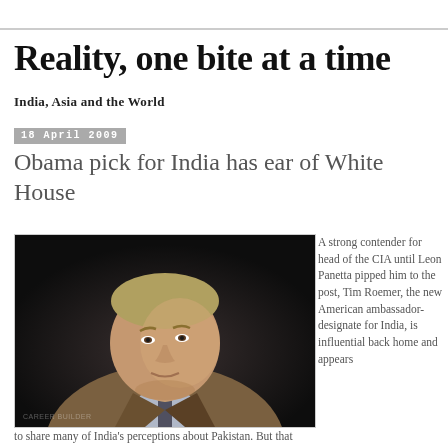Reality, one bite at a time
India, Asia and the World
18 April 2009
Obama pick for India has ear of White House
[Figure (photo): Portrait photo of a man in a suit against a dark background, identified as Tim Roemer]
A strong contender for head of the CIA until Leon Panetta pipped him to the post, Tim Roemer, the new American ambassador-designate for India, is influential back home and appears
to share many of India's perceptions about Pakistan. But that